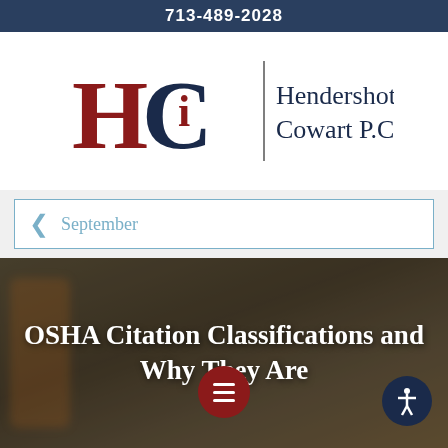713-489-2028
[Figure (logo): Hendershot Cowart P.C. law firm logo with stylized HC monogram in dark red and navy blue, vertical divider, and firm name text]
September
[Figure (photo): Hero image with blurred construction/industrial background, overlaid with bold white text reading 'OSHA Citation Classifications and Why They Are' with a floating dark red circular menu button and a dark blue accessibility icon button]